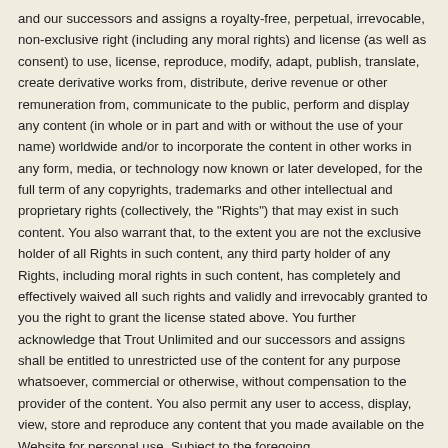and our successors and assigns a royalty-free, perpetual, irrevocable, non-exclusive right (including any moral rights) and license (as well as consent) to use, license, reproduce, modify, adapt, publish, translate, create derivative works from, distribute, derive revenue or other remuneration from, communicate to the public, perform and display any content (in whole or in part and with or without the use of your name) worldwide and/or to incorporate the content in other works in any form, media, or technology now known or later developed, for the full term of any copyrights, trademarks and other intellectual and proprietary rights (collectively, the "Rights") that may exist in such content. You also warrant that, to the extent you are not the exclusive holder of all Rights in such content, any third party holder of any Rights, including moral rights in such content, has completely and effectively waived all such rights and validly and irrevocably granted to you the right to grant the license stated above. You further acknowledge that Trout Unlimited and our successors and assigns shall be entitled to unrestricted use of the content for any purpose whatsoever, commercial or otherwise, without compensation to the provider of the content. You also permit any user to access, display, view, store and reproduce any content that you made available on the Website for personal use. Subject to the foregoing,